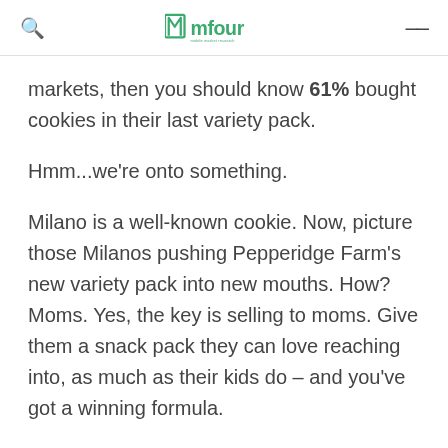mfour
markets, then you should know 61% bought cookies in their last variety pack.
Hmm...we're onto something.
Milano is a well-known cookie. Now, picture those Milanos pushing Pepperidge Farm's new variety pack into new mouths. How? Moms. Yes, the key is selling to moms. Give them a snack pack they can love reaching into, as much as their kids do – and you've got a winning formula.